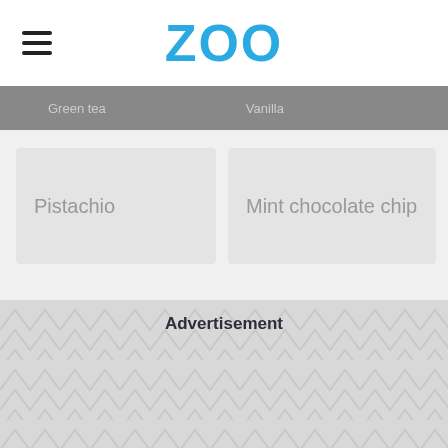ZOO
Green tea   Vanilla
Pistachio
Mint chocolate chip
Advertisement